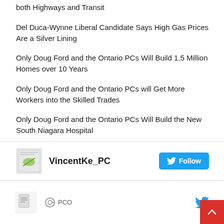both Highways and Transit
Del Duca-Wynne Liberal Candidate Says High Gas Prices Are a Silver Lining
Only Doug Ford and the Ontario PCs Will Build 1.5 Million Homes over 10 Years
Only Doug Ford and the Ontario PCs will Get More Workers into the Skilled Trades
Only Doug Ford and the Ontario PCs Will Build the New South Niagara Hospital
VincentKe_PC  Follow